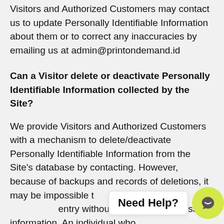Visitors and Authorized Customers may contact us to update Personally Identifiable Information about them or to correct any inaccuracies by emailing us at admin@printondemand.id
Can a Visitor delete or deactivate Personally Identifiable Information collected by the Site?
We provide Visitors and Authorized Customers with a mechanism to delete/deactivate Personally Identifiable Information from the Site's database by contacting. However, because of backups and records of deletions, it may be impossible to completely remove a customer's entry without retaining some residual information. An individual who